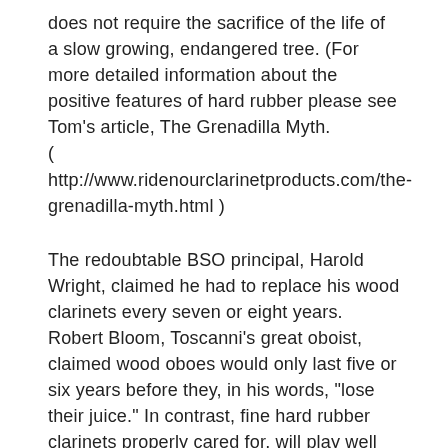does not require the sacrifice of the life of a slow growing, endangered tree. (For more detailed information about the positive features of hard rubber please see Tom's article, The Grenadilla Myth.
( http://www.ridenourclarinetproducts.com/the-grenadilla-myth.html )
The redoubtable BSO principal, Harold Wright, claimed he had to replace his wood clarinets every seven or eight years. Robert Bloom, Toscanni's great oboist, claimed wood oboes would only last five or six years before they, in his words, "lose their juice." In contrast, fine hard rubber clarinets properly cared for, will play well indefinitely. They